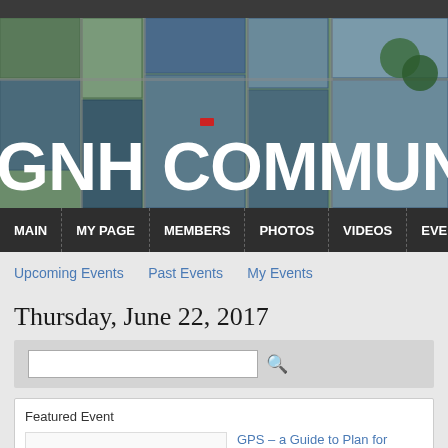[Figure (screenshot): Aerial city view banner background with GNH COMMUNITY text overlay]
GNH COMMUNITY
MAIN | MY PAGE | MEMBERS | PHOTOS | VIDEOS | EVENTS
Upcoming Events   Past Events   My Events
Thursday, June 22, 2017
Featured Event
GPS – a Guide to Plan for Success
June 22, 2017 from 6pm to 9pm – Greate
WSZ... est meet come